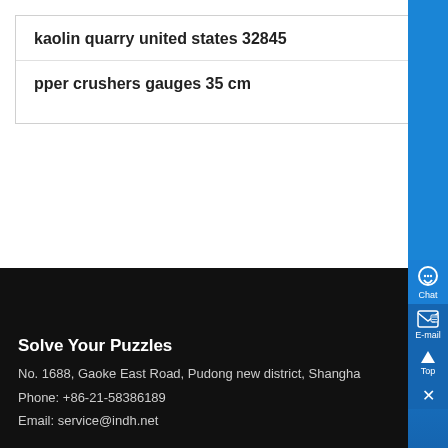kaolin quarry united states 32845
pper crushers gauges 35 cm
Solve Your Puzzles
No. 1688, Gaoke East Road, Pudong new district, Shanghai
Phone: +86-21-58386189
Email: service@indh.net